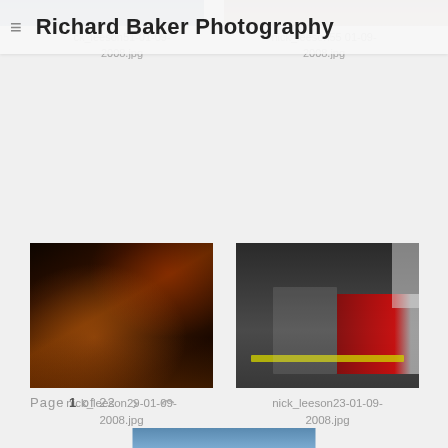Richard Baker Photography
ck_leeson51-01-09-2008.jpg
nick_leeson55 01-09-2008.jpg
[Figure (photo): Man sitting at a bar interior, dark warm lighting with amber tones, man with arms crossed on bar counter]
nick_leeson29-01-09-2008.jpg
[Figure (photo): Bald man on phone in street, colorful shopfronts in background, urban street scene]
nick_leeson23-01-09-2008.jpg
Page 1 of 22